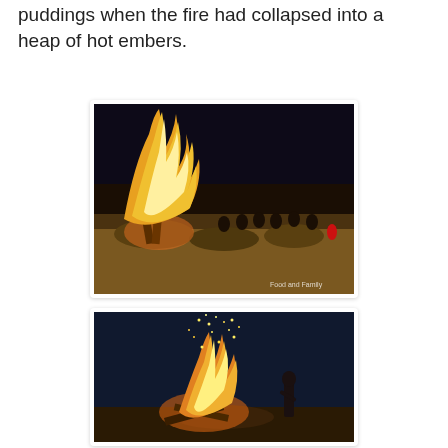puddings when the fire had collapsed into a heap of hot embers.
[Figure (photo): Night-time outdoor scene with a large bonfire on the left and a group of people sitting around it in a desert/scrubland setting. Watermark reads 'Food and Family'.]
[Figure (photo): Night-time campfire scene with sparks flying upward and a person standing to the right of the fire.]